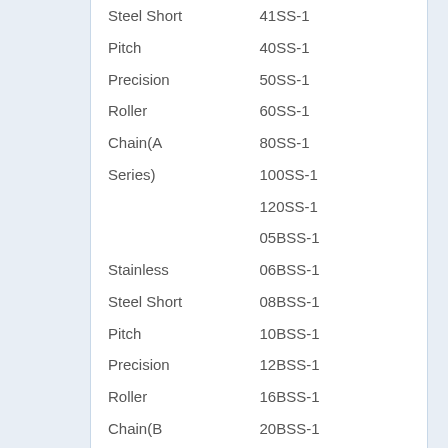| Category | Part Number |
| --- | --- |
| Steel Short | 41SS-1 |
| Pitch | 40SS-1 |
| Precision | 50SS-1 |
| Roller | 60SS-1 |
| Chain(A | 80SS-1 |
| Series) | 100SS-1 |
|  | 120SS-1 |
|  | 05BSS-1 |
| Stainless | 06BSS-1 |
| Steel Short | 08BSS-1 |
| Pitch | 10BSS-1 |
| Precision | 12BSS-1 |
| Roller | 16BSS-1 |
| Chain(B | 20BSS-1 |
| Series) | 24BSS-1 |
|  | C40SS-1 |